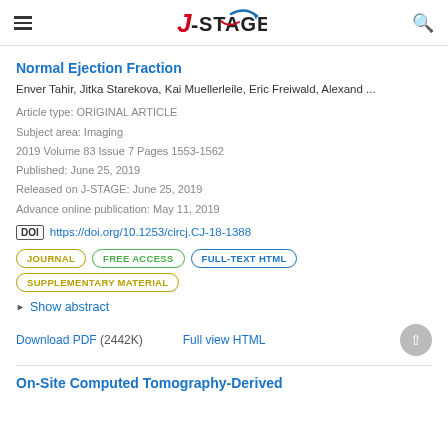J-STAGE
Normal Ejection Fraction
Enver Tahir, Jitka Starekova, Kai Muellerleile, Eric Freiwald, Alexand ...
Article type: ORIGINAL ARTICLE
Subject area: Imaging
2019 Volume 83 Issue 7 Pages 1553-1562
Published: June 25, 2019
Released on J-STAGE: June 25, 2019
Advance online publication: May 11, 2019
DOI https://doi.org/10.1253/circj.CJ-18-1388
JOURNAL  FREE ACCESS  FULL-TEXT HTML  SUPPLEMENTARY MATERIAL
Show abstract
Download PDF (2442K)  Full view HTML
On-Site Computed Tomography-Derived